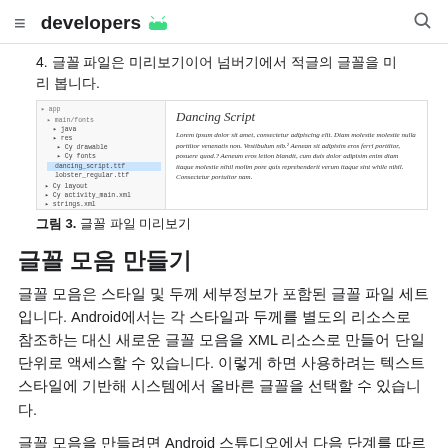≡ developers 🤖 🔍
4. 글꼴 파일은 미리보기이어 넘버기에서 적글의 글꼴을 미리 봅니다.
[Figure (screenshot): Android Studio file tree on the left showing font files selected, and a font preview panel on the right showing 'Dancing Script' font with Lorem ipsum placeholder text in italic script style.]
그림 3. 글꼴 파일 미리보기
글꼴 모음 만들기
글꼴 모음은 스타일 및 두께 세부정보가 포함된 글꼴 파일 세트입니다. Android에서는 각 스타일과 두께를 별도의 리소스로 참조하는 대신 새로운 글꼴 모음을 XML 리소스로 만들어 단일 단위로 액세스할 수 있습니다. 이렇게 하면 사용하려는 텍스트 스타일에 기반해 시스템에서 올바른 글꼴을 선택할 수 있습니다.
글꼴 모음을 만들려면 Android 스튜디오에서 다음 단계를 따르